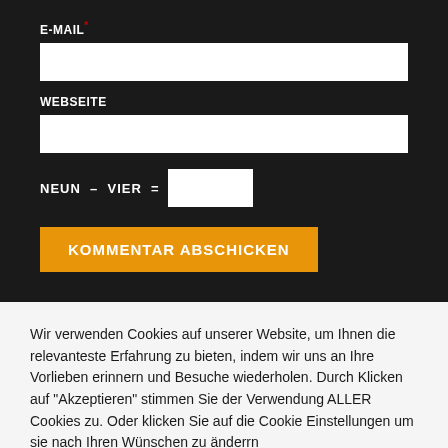E-MAIL *
WEBSEITE
NEUN – VIER =
KOMMENTAR ABSCHICKEN
Wir verwenden Cookies auf unserer Website, um Ihnen die relevanteste Erfahrung zu bieten, indem wir uns an Ihre Vorlieben erinnern und Besuche wiederholen. Durch Klicken auf "Akzeptieren" stimmen Sie der Verwendung ALLER Cookies zu. Oder klicken Sie auf die Cookie Einstellungen um sie nach Ihren Wünschen zu änderrn
Cookie Einstellungen
ACCEPT